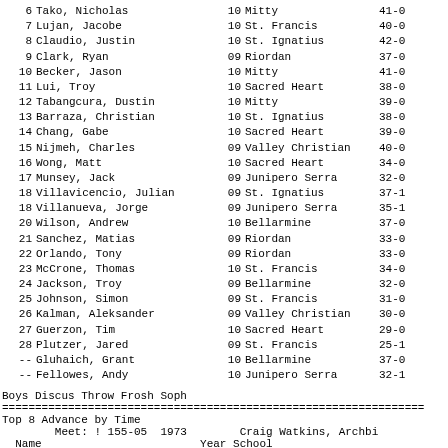| Rank | Name | Yr | School | Mark |
| --- | --- | --- | --- | --- |
| 6 | Tako, Nicholas | 10 | Mitty | 41-0 |
| 7 | Lujan, Jacobe | 10 | St. Francis | 40-0 |
| 8 | Claudio, Justin | 10 | St. Ignatius | 42-0 |
| 9 | Clark, Ryan | 09 | Riordan | 37-0 |
| 10 | Becker, Jason | 10 | Mitty | 41-0 |
| 11 | Lui, Troy | 10 | Sacred Heart | 38-0 |
| 12 | Tabangcura, Dustin | 10 | Mitty | 39-0 |
| 13 | Barraza, Christian | 10 | St. Ignatius | 38-0 |
| 14 | Chang, Gabe | 10 | Sacred Heart | 39-0 |
| 15 | Nijmeh, Charles | 09 | Valley Christian | 40-0 |
| 16 | Wong, Matt | 10 | Sacred Heart | 34-0 |
| 17 | Munsey, Jack | 09 | Junipero Serra | 32-0 |
| 18 | Villavicencio, Julian | 09 | St. Ignatius | 37-1 |
| 18 | Villanueva, Jorge | 09 | Junipero Serra | 35-1 |
| 20 | Wilson, Andrew | 10 | Bellarmine | 37-0 |
| 21 | Sanchez, Matias | 09 | Riordan | 33-0 |
| 22 | Orlando, Tony | 09 | Riordan | 33-0 |
| 23 | McCrone, Thomas | 10 | St. Francis | 34-0 |
| 24 | Jackson, Troy | 09 | Bellarmine | 32-0 |
| 25 | Johnson, Simon | 09 | St. Francis | 31-0 |
| 26 | Kalman, Aleksander | 09 | Valley Christian | 30-0 |
| 27 | Guerzon, Tim | 10 | Sacred Heart | 29-0 |
| 28 | Plutzer, Jared | 09 | St. Francis | 25-1 |
| -- | Gluhaich, Grant | 10 | Bellarmine | 37-0 |
| -- | Fellowes, Andy | 10 | Junipero Serra | 32-1 |
Boys Discus Throw Frosh Soph
========================================
Top 8 Advance by Time
Meet: ! 155-05  1973        Craig Watkins, Archbi
Name                        Year School